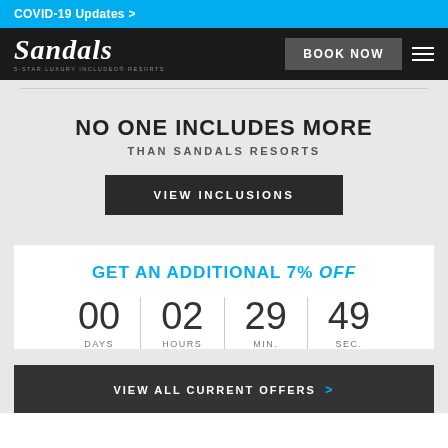COVID-19 Updates >
[Figure (logo): Sandals 5-Star Luxury Included Resorts logo in white on black background, with BOOK NOW button and hamburger menu]
NO ONE INCLUDES MORE THAN SANDALS RESORTS
VIEW INCLUSIONS
GET AN ADDITIONAL 7% Off
00 DAYS  02 HOURS  29 MIN.  49 SEC.
VIEW ALL CURRENT OFFERS >